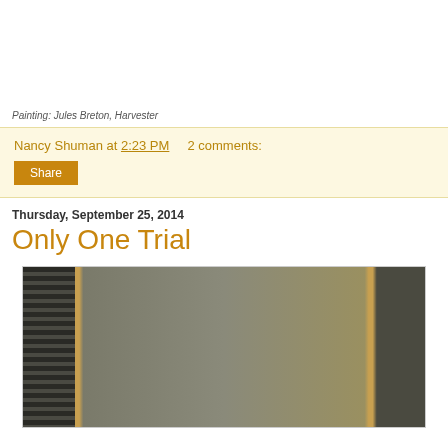Painting: Jules Breton, Harvester
Nancy Shuman at 2:23 PM   2 comments:
Share
Thursday, September 25, 2014
Only One Trial
[Figure (photo): A photograph showing what appears to be a window with venetian blinds on the left side and a plain wall or door surface visible, rendered in muted grey-brown tones.]